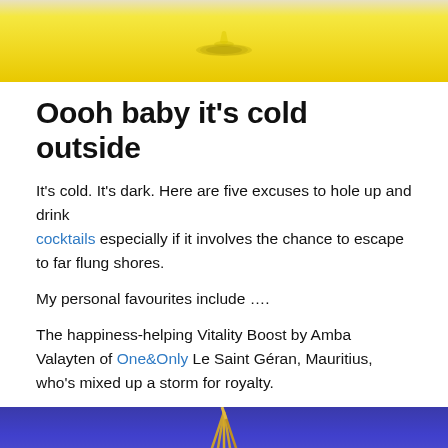[Figure (photo): Top portion of a photo showing a yellow background with a water droplet splash effect]
Oooh baby it's cold outside
It's cold. It's dark. Here are five excuses to hole up and drink cocktails especially if it involves the chance to escape to far flung shores.
My personal favourites include ….
The happiness-helping Vitality Boost by Amba Valayten of One&Only Le Saint Géran, Mauritius, who's mixed up a storm for royalty.
[Figure (photo): Bottom portion of a photo showing a purple/blue night sky with what appears to be a teepee or tent structure with illuminated poles]